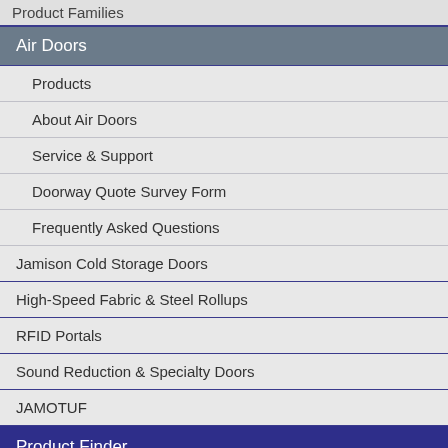Product Families
Air Doors
Products
About Air Doors
Service & Support
Doorway Quote Survey Form
Frequently Asked Questions
Jamison Cold Storage Doors
High-Speed Fabric & Steel Rollups
RFID Portals
Sound Reduction & Specialty Doors
JAMOTUF
Product Finder
Video Gallery
Worldwide Locations
Search